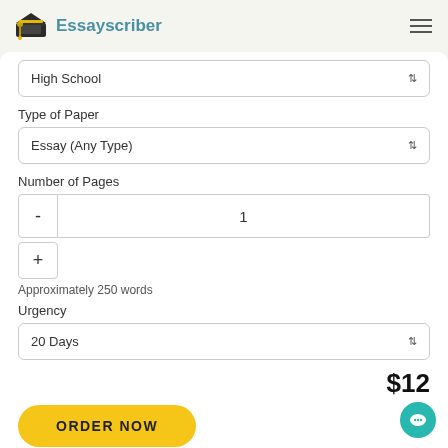Essayscriber
High School
Type of Paper
Essay (Any Type)
Number of Pages
1
Approximately 250 words
Urgency
20 Days
$12
ORDER NOW